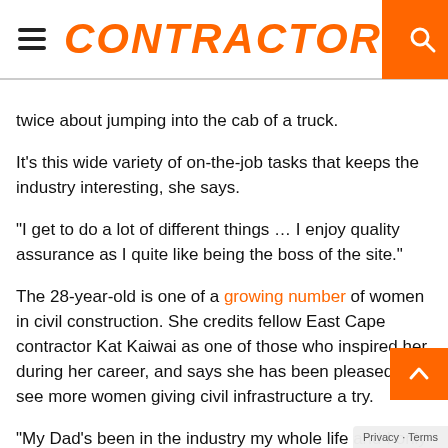CONTRACTOR
twice about jumping into the cab of a truck.
It's this wide variety of on-the-job tasks that keeps the industry interesting, she says.
"I get to do a lot of different things … I enjoy quality assurance as I quite like being the boss of the site."
The 28-year-old is one of a growing number of women in civil construction. She credits fellow East Cape contractor Kat Kaiwai as one of those who inspired her during her career, and says she has been pleased to see more women giving civil infrastructure a try.
"My Dad's been in the industry my whole life and I only have brothers so I guess it was an obvious choice for me," says Paare.
"But there are definitely a whole lot more women in th